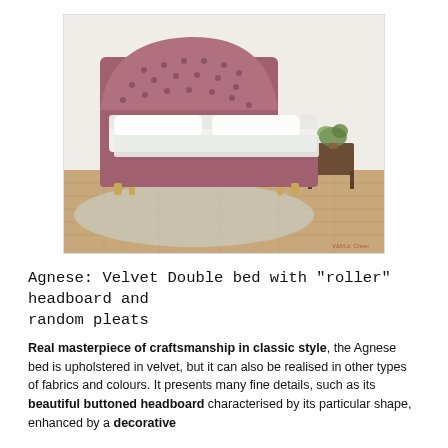[Figure (photo): A pink/mauve velvet double bed with a tufted 'roller' shaped headboard with button details, white mattress and sheets, small wooden side table with flowers, hardwood floor with light grey rug, room with white walls. Small watermark logo visible in bottom right corner of photo.]
Agnese: Velvet Double bed with "roller" headboard and random pleats
Real masterpiece of craftsmanship in classic style, the Agnese bed is upholstered in velvet, but it can also be realised in other types of fabrics and colours. It presents many fine details, such as its beautiful buttoned headboard characterised by its particular shape, enhanced by a decorative